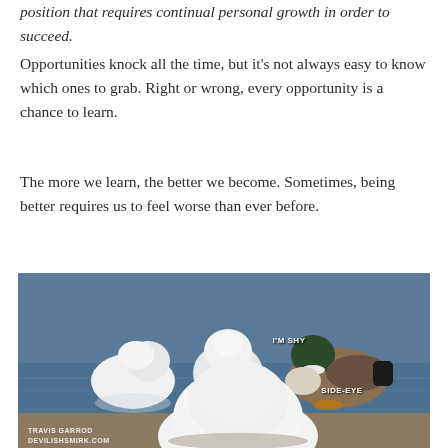position that requires continual personal growth in order to succeed.
Opportunities knock all the time, but it's not always easy to know which ones to grab. Right or wrong, every opportunity is a chance to learn.
The more we learn, the better we become. Sometimes, being better requires us to feel worse than ever before.
[Figure (photo): A humorous meme photo of ducks/geese near water. A white duck on the left is labeled 'I'M SHY', a middle duck faces away, and a duck on the right is labeled 'SIDE-EYE'. A large white goose/duck is in the foreground facing away. Watermark reads 'TRAVIS GARROD DEVILISHSMIRK.COM'.]